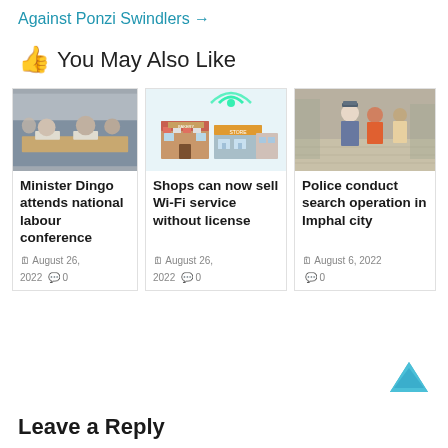Against Ponzi Swindlers →
👍 You May Also Like
[Figure (photo): People seated at a conference table with name placards]
Minister Dingo attends national labour conference
August 26, 2022   0
[Figure (illustration): Illustration of shops/store buildings with Wi-Fi signal icon]
Shops can now sell Wi-Fi service without license
August 26, 2022   0
[Figure (photo): Police officers conducting search operation on a street in Imphal city]
Police conduct search operation in Imphal city
August 6, 2022   0
Leave a Reply